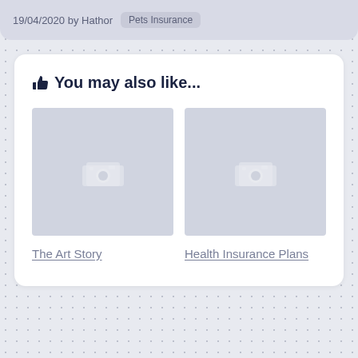19/04/2020 by Hathor  Pets Insurance
👍 You may also like...
[Figure (photo): Placeholder image thumbnail for The Art Story article]
[Figure (photo): Placeholder image thumbnail for Health Insurance Plans article]
The Art Story
Health Insurance Plans